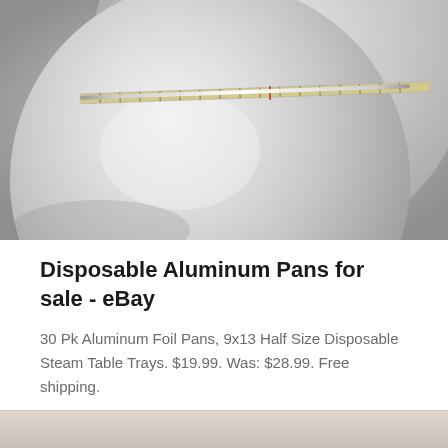[Figure (photo): Close-up photo of shiny circular aluminum foil pans/discs stacked, with a measuring tape laid across them showing their diameter.]
Disposable Aluminum Pans for sale - eBay
30 Pk Aluminum Foil Pans, 9x13 Half Size Disposable Steam Table Trays. $19.99. Was: $28.99. Free shipping.
GET QUOTE
[Figure (photo): Partially visible photo at the bottom of the page, appears to show another product.]